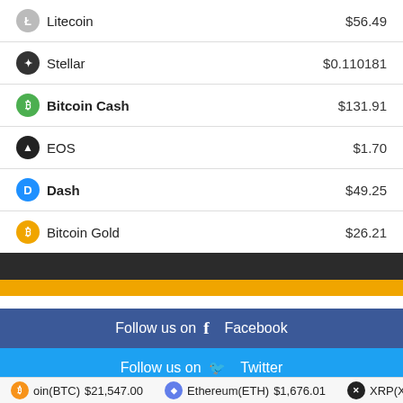| Cryptocurrency | Price |
| --- | --- |
| Litecoin | $56.49 |
| Stellar | $0.110181 |
| Bitcoin Cash | $131.91 |
| EOS | $1.70 |
| Dash | $49.25 |
| Bitcoin Gold | $26.21 |
[Figure (other): Dark bar and gold accent bar separator]
Follow us on Facebook
Follow us on Twitter
Follow us on LinkedIn
oin(BTC) $21,547.00   Ethereum(ETH) $1,676.01   XRP(XRP)